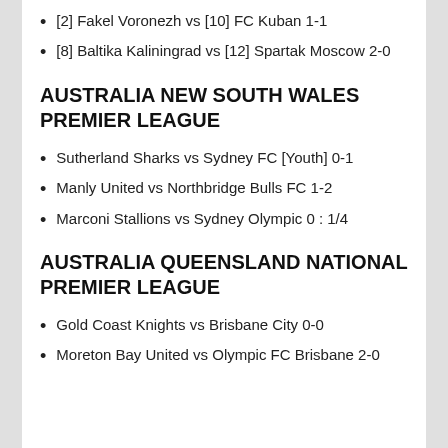[2] Fakel Voronezh vs [10] FC Kuban 1-1
[8] Baltika Kaliningrad vs [12] Spartak Moscow 2-0
AUSTRALIA NEW SOUTH WALES PREMIER LEAGUE
Sutherland Sharks vs Sydney FC [Youth] 0-1
Manly United vs Northbridge Bulls FC 1-2
Marconi Stallions vs Sydney Olympic 0 : 1/4
AUSTRALIA QUEENSLAND NATIONAL PREMIER LEAGUE
Gold Coast Knights vs Brisbane City 0-0
Moreton Bay United vs Olympic FC Brisbane 2-0